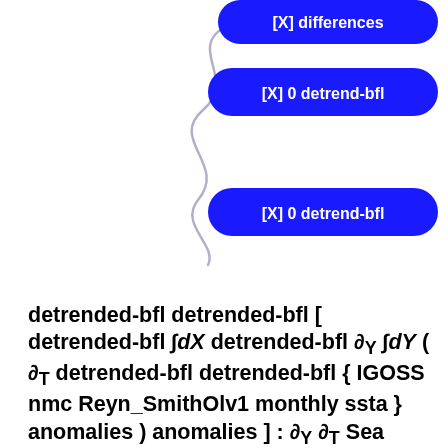[Figure (screenshot): Three blue rounded-rectangle buttons with white text: '[X] differences' (partially visible at top), '[X] 0 detrend-bfl', and '[X] 0 detrend-bfl', connected by a squiggly line on the left side]
detrended-bfl detrended-bfl [ detrended-bfl ∫dX detrended-bfl ∂Y ∫dY ( ∂T detrended-bfl detrended-bfl { IGOSS nmc Reyn_SmithOlv1 monthly ssta } anomalies ) anomalies ] : ∂Y ∂T Sea Surface Temperature Anomaly data
monthly ssta adif adif adif adif partial_T partial_T int_dY partial_Y adif int_dX int_dX adif adif adif adif ∂Y ∂T Sea Surface Temperature Anomaly from IGOSS nmc Reyn_SmithOlv1: Sea surface temperature fields blended from ship, buoy and bias-corrected satellite data (Reynolds and Smith 1994).